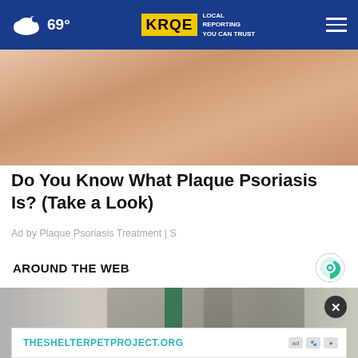69° KRQE LOCAL REPORTING YOU CAN TRUST
[Figure (photo): Close-up photo of skin showing plaque psoriasis on a person's body]
Do You Know What Plaque Psoriasis Is? (Take a Look)
Ad by Plaque Psoriasis Treatment | S
AROUND THE WEB
[Figure (photo): Photo of two men in suits shaking hands in front of flags in a formal setting]
[Figure (other): Advertisement banner: THESHELTERPETPROJECT.ORG with ad badges]